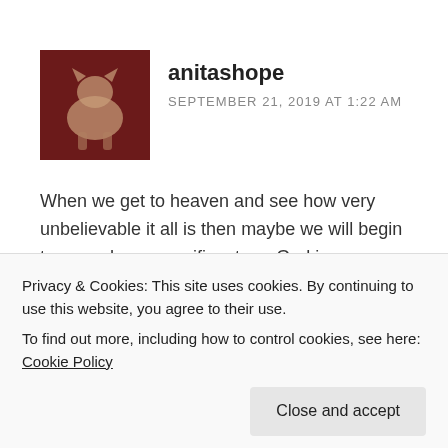[Figure (photo): Avatar photo of a cat/dog on a dark red background]
anitashope
SEPTEMBER 21, 2019 AT 1:22 AM
When we get to heaven and see how very unbelievable it all is then maybe we will begin to grasp how magnificent our God is.
★ Like
↩ Reply
Privacy & Cookies: This site uses cookies. By continuing to use this website, you agree to their use.
To find out more, including how to control cookies, see here: Cookie Policy
Close and accept
I have always said if one doesn't believe in God